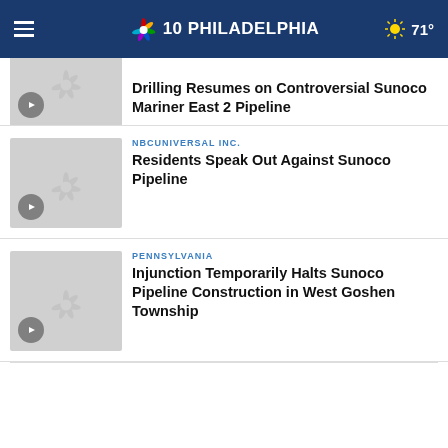NBC10 Philadelphia | 71°
Drilling Resumes on Controversial Sunoco Mariner East 2 Pipeline
NBCUNIVERSAL INC. | Residents Speak Out Against Sunoco Pipeline
PENNSYLVANIA | Injunction Temporarily Halts Sunoco Pipeline Construction in West Goshen Township